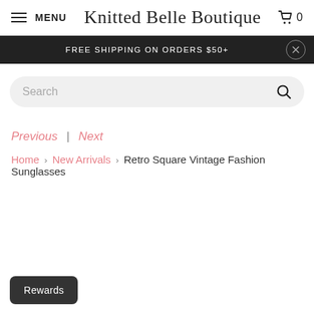MENU | Knitted Belle Boutique | Cart 0
FREE SHIPPING ON ORDERS $50+
Search
Previous | Next
Home > New Arrivals > Retro Square Vintage Fashion Sunglasses
Rewards